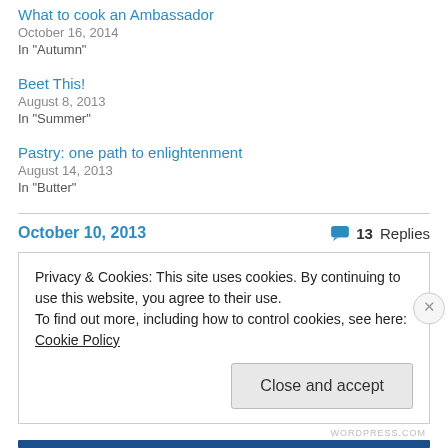What to cook an Ambassador
October 16, 2014
In "Autumn"
Beet This!
August 8, 2013
In "Summer"
Pastry: one path to enlightenment
August 14, 2013
In "Butter"
October 10, 2013
13 Replies
Privacy & Cookies: This site uses cookies. By continuing to use this website, you agree to their use.
To find out more, including how to control cookies, see here: Cookie Policy
Close and accept